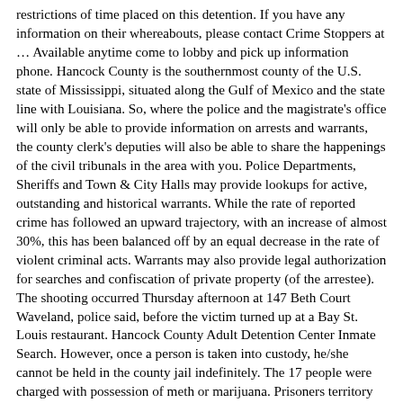restrictions of time placed on this detention. If you have any information on their whereabouts, please contact Crime Stoppers at … Available anytime come to lobby and pick up information phone. Hancock County is the southernmost county of the U.S. state of Mississippi, situated along the Gulf of Mexico and the state line with Louisiana. So, where the police and the magistrate's office will only be able to provide information on arrests and warrants, the county clerk's deputies will also be able to share the happenings of the civil tribunals in the area with you. Police Departments, Sheriffs and Town & City Halls may provide lookups for active, outstanding and historical warrants. While the rate of reported crime has followed an upward trajectory, with an increase of almost 30%, this has been balanced off by an equal decrease in the rate of violent criminal acts. Warrants may also provide legal authorization for searches and confiscation of private property (of the arrestee). The shooting occurred Thursday afternoon at 147 Beth Court Waveland, police said, before the victim turned up at a Bay St. Louis restaurant. Hancock County Adult Detention Center Inmate Search. However, once a person is taken into custody, he/she cannot be held in the county jail indefinitely. The 17 people were charged with possession of meth or marijuana. Prisoners territory from low-level offense wrongdoers to those being held and anticipating preliminary for brutal wrongdoings like theft, assault, and murder. When you complete such registration you will receive access to a third party membership area - of which the